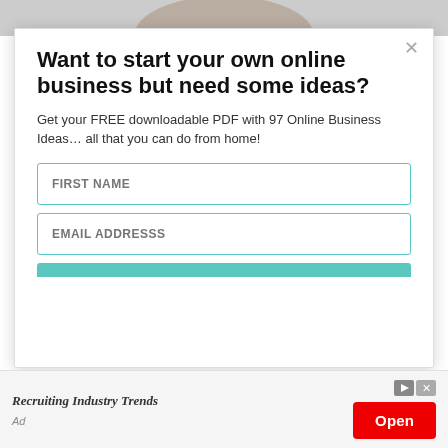[Figure (photo): Top portion of a person's head/image, cropped, shown at top of page]
Want to start your own online business but need some ideas?
Get your FREE downloadable PDF with 97 Online Business Ideas… all that you can do from home!
FIRST NAME
EMAIL ADDRESSS
This website uses cookies to improve your experience.
Recruiting Industry Trends
Open
Ad